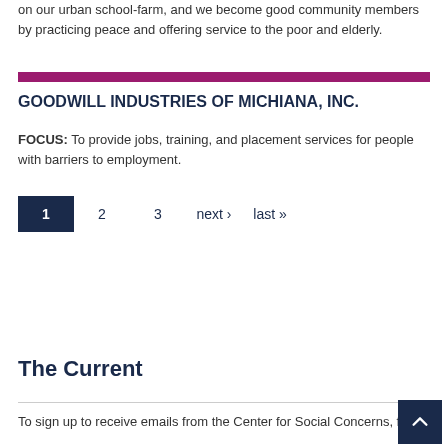on our urban school-farm, and we become good community members by practicing peace and offering service to the poor and elderly.
GOODWILL INDUSTRIES OF MICHIANA, INC.
FOCUS: To provide jobs, training, and placement services for people with barriers to employment.
1  2  3  next ›  last »
The Current
To sign up to receive emails from the Center for Social Concerns, fill